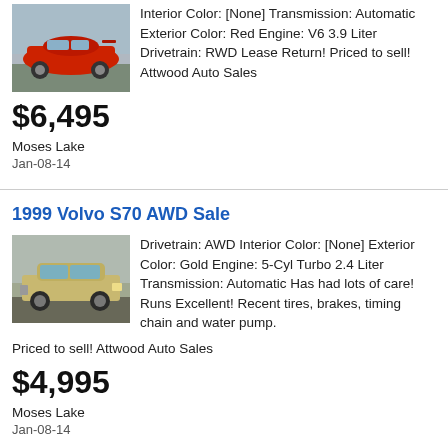[Figure (photo): Red sports car (Ford Mustang) parked, rear three-quarter view]
Interior Color: [None] Transmission: Automatic Exterior Color: Red Engine: V6 3.9 Liter Drivetrain: RWD Lease Return! Priced to sell! Attwood Auto Sales
$6,495
Moses Lake
Jan-08-14
1999 Volvo S70 AWD Sale
[Figure (photo): Gold/beige Volvo S70 sedan parked in a lot]
Drivetrain: AWD Interior Color: [None] Exterior Color: Gold Engine: 5-Cyl Turbo 2.4 Liter Transmission: Automatic Has had lots of care! Runs Excellent! Recent tires, brakes, timing chain and water pump. Priced to sell! Attwood Auto Sales
$4,995
Moses Lake
Jan-08-14